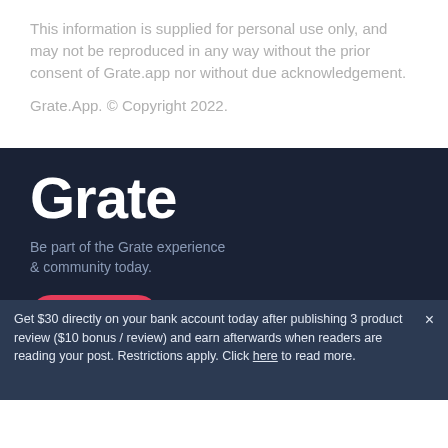This information is supplied for personal use only, and may not be reproduced in any way without the prior consent of Grate.app nor without due acknowledgement.
Grate.App. © Copyright 2022.
Grate
Be part of the Grate experience & community today.
USA EN
[Figure (illustration): Social media icons row: Facebook, Twitter, Instagram, YouTube, Pinterest]
Get $30 directly on your bank account today after publishing 3 product review ($10 bonus / review) and earn afterwards when readers are reading your post. Restrictions apply. Click here to read more.